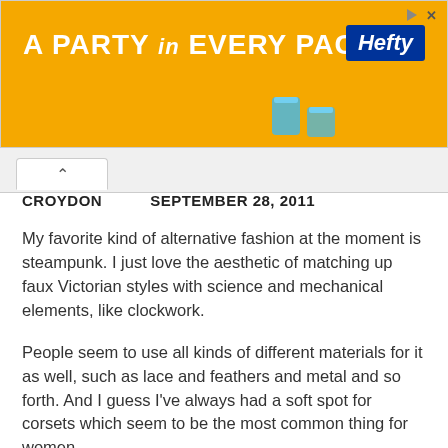[Figure (screenshot): Orange Hefty advertisement banner reading 'A PARTY in EVERY PACK' with Hefty logo on right and blue cups visible at bottom right]
CROYDON   SEPTEMBER 28, 2011
My favorite kind of alternative fashion at the moment is steampunk. I just love the aesthetic of matching up faux Victorian styles with science and mechanical elements, like clockwork.
People seem to use all kinds of different materials for it as well, such as lace and feathers and metal and so forth. And I guess I've always had a soft spot for corsets which seem to be the most common thing for women